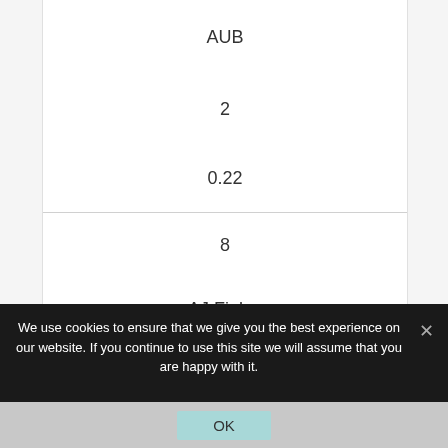AUB
2
0.22
8
AJ Finley
OLM
2
0.22
We use cookies to ensure that we give you the best experience on our website. If you continue to use this site we will assume that you are happy with it.